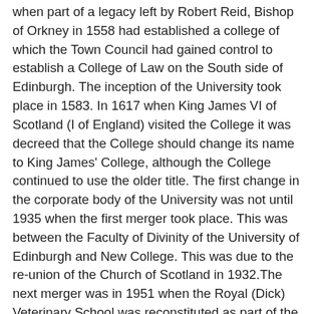when part of a legacy left by Robert Reid, Bishop of Orkney in 1558 had established a college of which the Town Council had gained control to establish a College of Law on the South side of Edinburgh. The inception of the University took place in 1583. In 1617 when King James VI of Scotland (I of England) visited the College it was decreed that the College should change its name to King James' College, although the College continued to use the older title. The first change in the corporate body of the University was not until 1935 when the first merger took place. This was between the Faculty of Divinity of the University of Edinburgh and New College. This was due to the re-union of the Church of Scotland in 1932.The next merger was in 1951 when the Royal (Dick) Veterinary School was reconstituted as part of the University of Edinburgh. The Royal (Dick) Veterinary School achieved full faculty status in 1964. In 1998 Moray House Institute of Education became the Faculty of Education.
The first classes of the university were held in Hamilton House known as the Duke's Lodge. In 1582 a site that included St Mary in the Fields was acquired. Many new